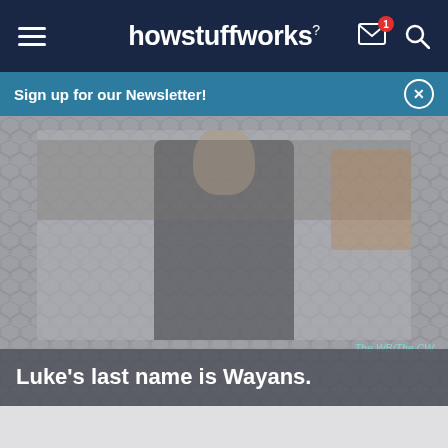howstuffworks
Sign up for our Newsletter!
[Figure (photo): A man in a dark leather jacket sitting at what appears to be a bar or counter, with shelves in the background. Image is faded/washed out with a hexagon pattern overlay. Credit: The WB/The CW]
Luke's last name is Wayans.